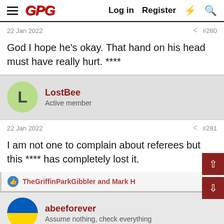GPG  Log in  Register
22 Jan 2022  #280
God I hope he's okay. That hand on his head must have really hurt. ****
LostBee
Active member
22 Jan 2022  #281
I am not one to complain about referees but this **** has completely lost it.
TheGriffinParkGibbler and Mark H
abeeforever
Assume nothing, check everything